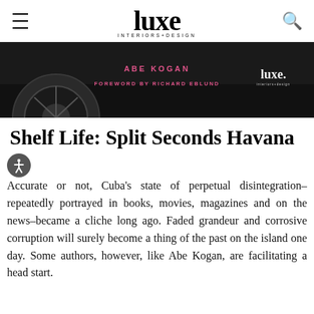luxe INTERIORS+DESIGN
[Figure (photo): Dark banner image showing a vintage car wheel/tire in black and white with pink text overlay reading 'ABE KOGAN' and 'FOREWORD BY RICHARD EBLUND' with a Luxe Interiors+Design logo on the right]
Shelf Life: Split Seconds Havana
Accurate or not, Cuba's state of perpetual disintegration–repeatedly portrayed in books, movies, magazines and on the news–became a cliche long ago. Faded grandeur and corrosive corruption will surely become a thing of the past on the island one day. Some authors, however, like Abe Kogan, are facilitating a head start.